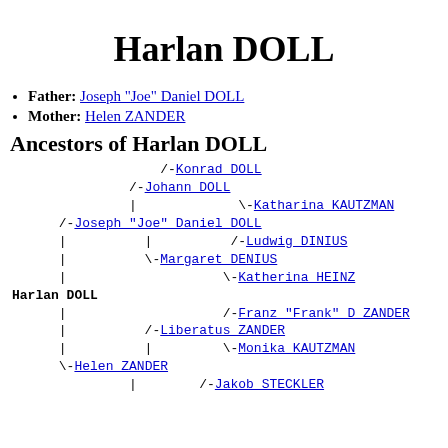Harlan DOLL
Father: Joseph "Joe" Daniel DOLL
Mother: Helen ZANDER
Ancestors of Harlan DOLL
[Figure (other): Genealogical ancestor tree for Harlan DOLL showing ancestors: Konrad DOLL, Johann DOLL, Katharina KAUTZMAN, Joseph "Joe" Daniel DOLL, Ludwig DINIUS, Margaret DENIUS, Katherina HEINZ, Franz "Frank" D ZANDER, Liberatus ZANDER, Monika KAUTZMAN, Helen ZANDER, Jakob STECKLER]